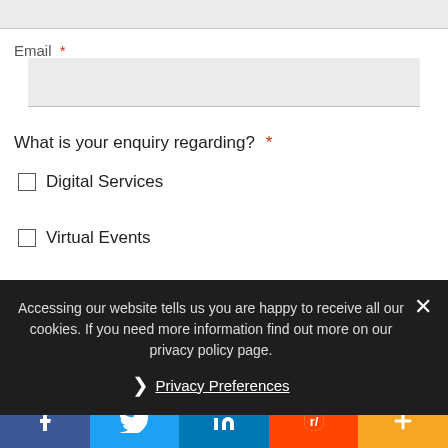Email *
What is your enquiry regarding? *
Digital Services
Virtual Events
Webinars
Roundtable
Other
Accessing our website tells us you are happy to receive all our cookies. If you need more information find out more on our privacy policy page.
Privacy Preferences